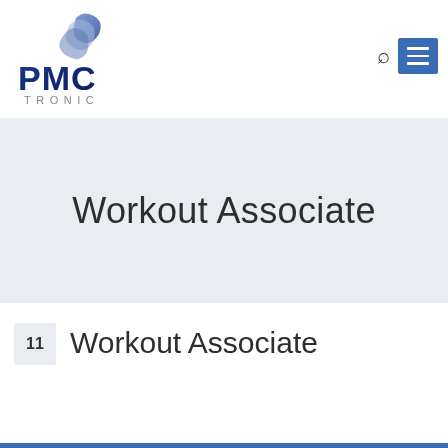[Figure (logo): PMC Tronic logo with stylized blue wave/leaf graphic above the text PMC in dark blue and TRONIC in gray]
Workout Associate
11  Workout Associate